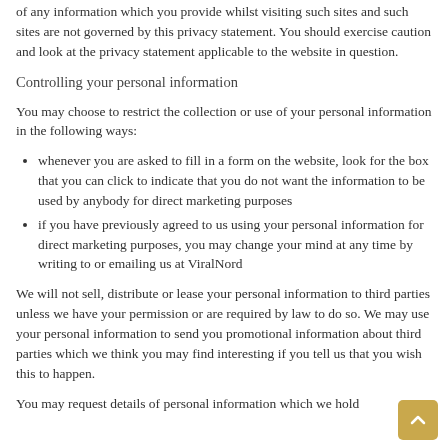of any information which you provide whilst visiting such sites and such sites are not governed by this privacy statement. You should exercise caution and look at the privacy statement applicable to the website in question.
Controlling your personal information
You may choose to restrict the collection or use of your personal information in the following ways:
whenever you are asked to fill in a form on the website, look for the box that you can click to indicate that you do not want the information to be used by anybody for direct marketing purposes
if you have previously agreed to us using your personal information for direct marketing purposes, you may change your mind at any time by writing to or emailing us at ViralNord
We will not sell, distribute or lease your personal information to third parties unless we have your permission or are required by law to do so. We may use your personal information to send you promotional information about third parties which we think you may find interesting if you tell us that you wish this to happen.
You may request details of personal information which we hold